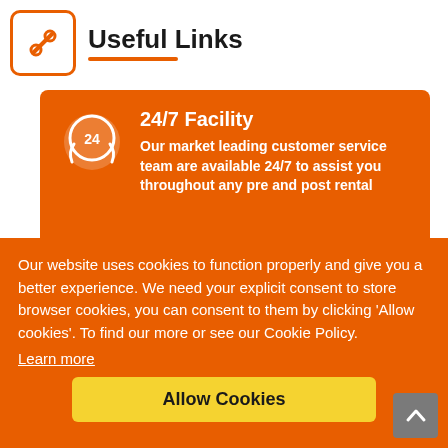Useful Links
24/7 Facility
Our market leading customer service team are available 24/7 to assist you throughout any pre and post rental
Our website uses cookies to function properly and give you a better experience. We need your explicit consent to store browser cookies, you can consent to them by clicking 'Allow cookies'. To find our more or see our Cookie Policy.
Learn more
Allow Cookies